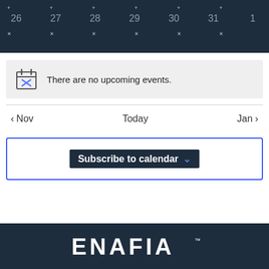[Figure (screenshot): Calendar header showing days 26, 27, 28, 29, 30, 31, 1 in dark navy background with dots above each day]
There are no upcoming events.
< Nov   Today   Jan >
Subscribe to calendar
[Figure (logo): ENAFIA logo in white text on dark navy background]